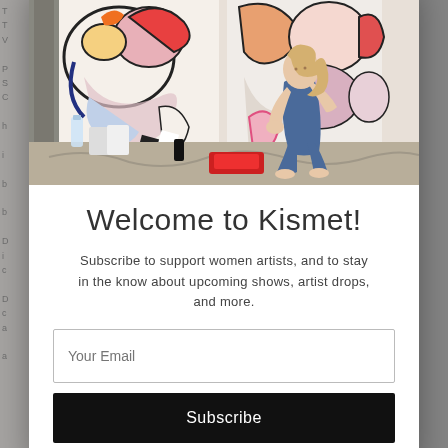[Figure (photo): Artist sitting on the floor in front of large abstract colorful paintings in an art studio, wearing denim overalls, surrounded by paint supplies, buckets, and drop cloths.]
Welcome to Kismet!
Subscribe to support women artists, and to stay in the know about upcoming shows, artist drops, and more.